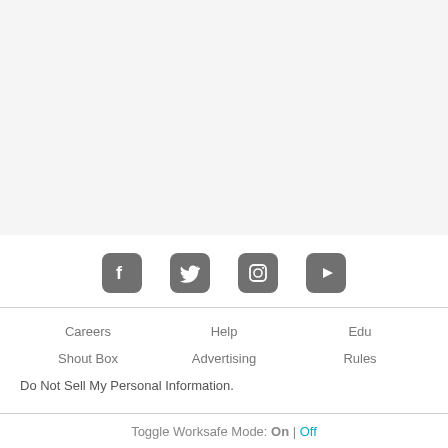[Figure (other): Large light gray empty area at the top of the page]
[Figure (infographic): Social media icons: Facebook, Twitter, Instagram, YouTube — all in gray rounded square style]
Careers
Help
Edu
Shout Box
Advertising
Rules
Do Not Sell My Personal Information.
Toggle Worksafe Mode: On | Off